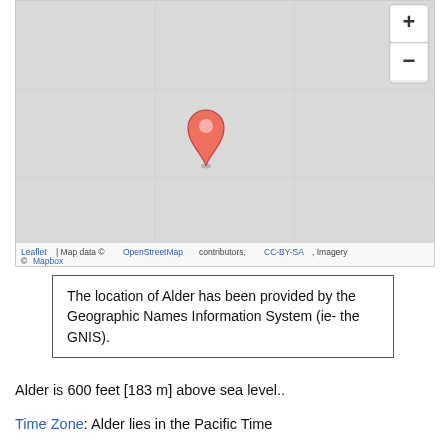[Figure (map): Interactive map showing the location of Alder with a red/salmon map pin marker in the center. The map background is light gray. Zoom in (+) and zoom out (-) controls are visible in the top-right corner. Map attribution at the bottom reads: Leaflet | Map data © OpenStreetMap contributors, CC-BY-SA, Imagery © Mapbox]
The location of Alder has been provided by the Geographic Names Information System (ie- the GNIS).
Alder is 600 feet [183 m] above sea level..
Time Zone: Alder lies in the Pacific Time